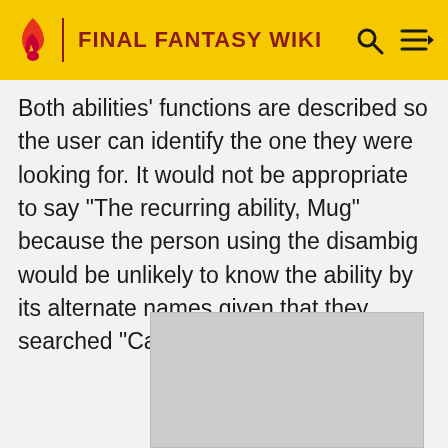FINAL FANTASY WIKI
Both abilities' functions are described so the user can identify the one they were looking for. It would not be appropriate to say "The recurring ability, Mug" because the person using the disambig would be unlikely to know the ability by its alternate names given that they searched "Capture" when looking for it.
[Figure (other): Gray placeholder image box]